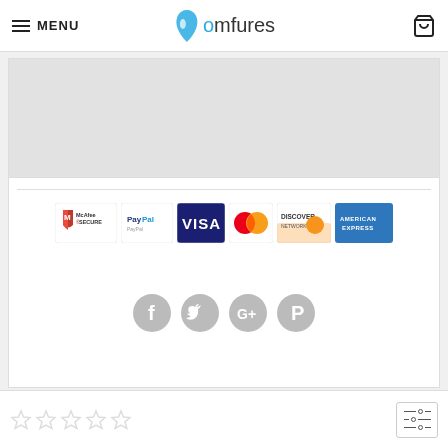MENU | Comfures
[Figure (photo): Product image placeholder area (light gray background)]
[Figure (infographic): Payment security badges: McAfee Secure, PayPal, VISA, MasterCard, Discover Network, American Express]
[Figure (infographic): Social media icons: Facebook, Twitter, Google+, Pinterest (circular gray icons)]
Star rating (empty stars) and filter icon